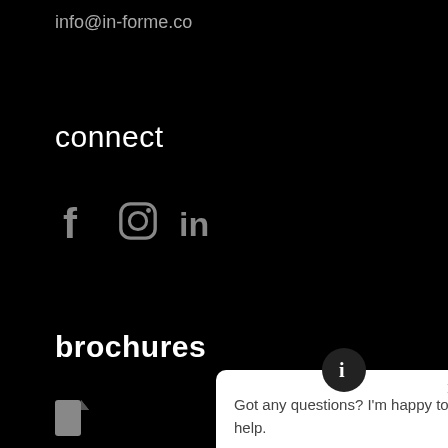info@in-forme.co
connect
[Figure (illustration): Social media icons: Facebook (f), Instagram (circle with rounded square), LinkedIn (in)]
brochures
Signage & Wayfindi...
Acoustic Solutions
[Figure (screenshot): Chat popup with info icon at top, close X button, text: Got any questions? I'm happy to help.]
Got any questions? I'm happy to help.